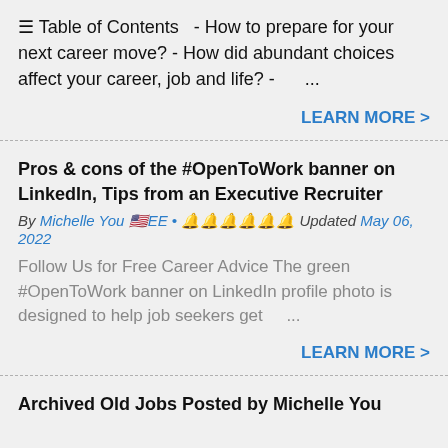☰ Table of Contents  - How to prepare for your next career move? - How did abundant choices affect your career, job and life? -    ...
LEARN MORE >
Pros & cons of the #OpenToWork banner on LinkedIn, Tips from an Executive Recruiter
By Michelle You 🇺🇸EE • 🔔🔔🔔🔔🔔🔔 Updated May 06, 2022
Follow Us for Free Career Advice The green #OpenToWork banner on LinkedIn profile photo is designed to help job seekers get ...
LEARN MORE >
Archived Old Jobs Posted by Michelle You